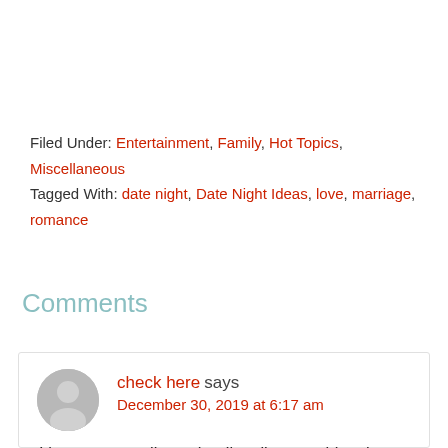Filed Under: Entertainment, Family, Hot Topics, Miscellaneous
Tagged With: date night, Date Night Ideas, love, marriage, romance
Comments
check here says
December 30, 2019 at 6:17 am

I just want to tell you that I'm all new to blogging and seriously savored your blog. More than likely I'm going to bookmark your website . You absolutely have perfect articles and reviews. Thank you for sharing with us